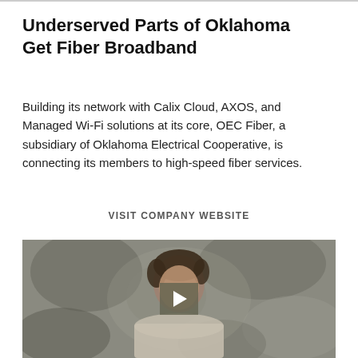Underserved Parts of Oklahoma Get Fiber Broadband
Building its network with Calix Cloud, AXOS, and Managed Wi-Fi solutions at its core, OEC Fiber, a subsidiary of Oklahoma Electrical Cooperative, is connecting its members to high-speed fiber services.
VISIT COMPANY WEBSITE
[Figure (photo): Video thumbnail showing a man in a light-colored shirt against a mottled grey background, with a semi-transparent play button overlay in the center.]